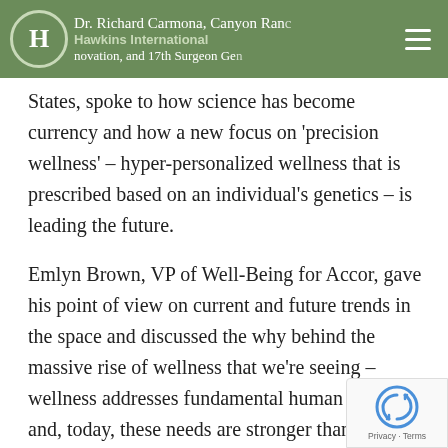Dr. Richard Carmona, Canyon Ranch … novation, and 17th Surgeon Gen… | Hawkins International
States, spoke to how science has become currency and how a new focus on 'precision wellness' – hyper-personalized wellness that is prescribed based on an individual's genetics – is leading the future.
Emlyn Brown, VP of Well-Being for Accor, gave his point of view on current and future trends in the space and discussed the why behind the massive rise of wellness that we're seeing – wellness addresses fundamental human needs and, today, these needs are stronger than ever because of our unhealthy, modern lifestyle, failing healthcare systems, economic inequality and drive of technology.